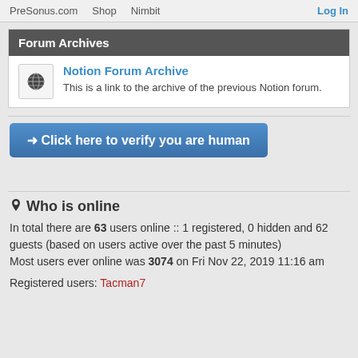PreSonus.com  Shop  Nimbit  Log In
Forum Archives
Notion Forum Archive
This is a link to the archive of the previous Notion forum.
➜ Click here to verify you are human
Who is online
In total there are 63 users online :: 1 registered, 0 hidden and 62 guests (based on users active over the past 5 minutes)
Most users ever online was 3074 on Fri Nov 22, 2019 11:16 am
Registered users: Tacman7